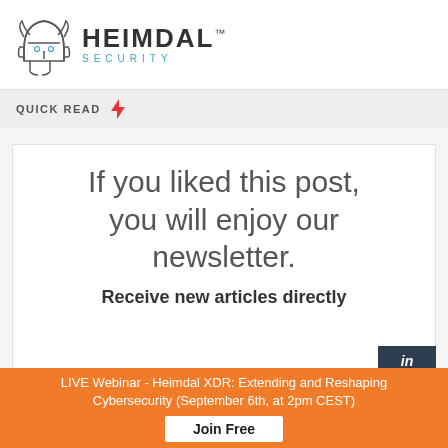[Figure (logo): Heimdal Security logo with Viking helmet outline and brand name]
QUICK READ ⚡
If you liked this post, you will enjoy our newsletter.
Receive new articles directly
LIVE Webinar - Heimdal XDR: Extending and Reshaping Cybersecurity (September 6th, at 2pm CEST)
Join Free